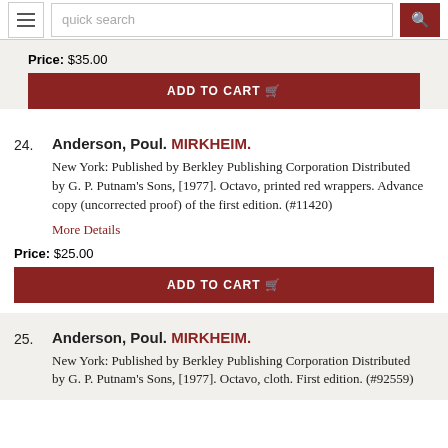quick search
Price: $35.00
ADD TO CART
24. Anderson, Poul. MIRKHEIM. New York: Published by Berkley Publishing Corporation Distributed by G. P. Putnam's Sons, [1977]. Octavo, printed red wrappers. Advance copy (uncorrected proof) of the first edition. (#11420)
More Details
Price: $25.00
ADD TO CART
25. Anderson, Poul. MIRKHEIM. New York: Published by Berkley Publishing Corporation Distributed by G. P. Putnam's Sons, [1977]. Octavo, cloth. First edition. (#92559)